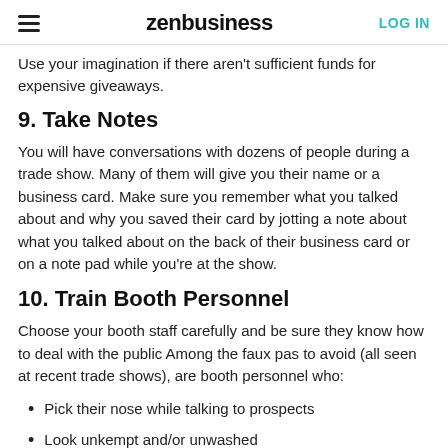zenbusiness | LOG IN
Use your imagination if there aren't sufficient funds for expensive giveaways.
9. Take Notes
You will have conversations with dozens of people during a trade show. Many of them will give you their name or a business card. Make sure you remember what you talked about and why you saved their card by jotting a note about what you talked about on the back of their business card or on a note pad while you're at the show.
10. Train Booth Personnel
Choose your booth staff carefully and be sure they know how to deal with the public Among the faux pas to avoid (all seen at recent trade shows), are booth personnel who:
Pick their nose while talking to prospects
Look unkempt and/or unwashed